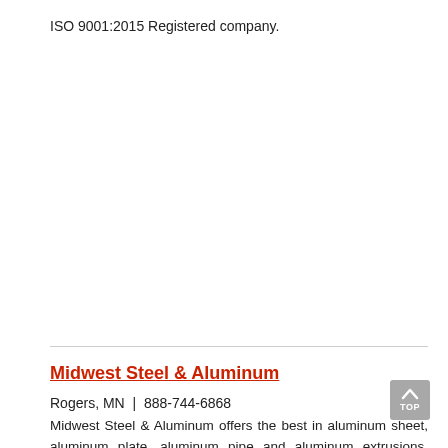ISO 9001:2015 Registered company.
Midwest Steel & Aluminum
Rogers, MN  |  888-744-6868
Midwest Steel & Aluminum offers the best in aluminum sheet, aluminum plate, aluminum pipe and aluminum extrusions, channels and bars as well as hot and cold rolled steel, stainless